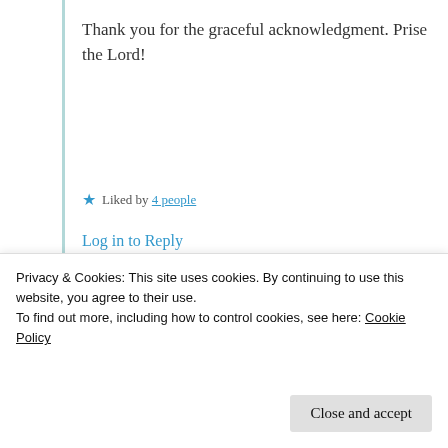Thank you for the graceful acknowledgment. Prise the Lord!
★ Liked by 4 people
Log in to Reply
Advertisements
[Figure (logo): Automattic logo — company name in uppercase letters with a circular target/crosshair icon replacing the 'O' in AUTOMATTIC]
Build a better web
Privacy & Cookies: This site uses cookies. By continuing to use this website, you agree to their use. To find out more, including how to control cookies, see here: Cookie Policy
Close and accept